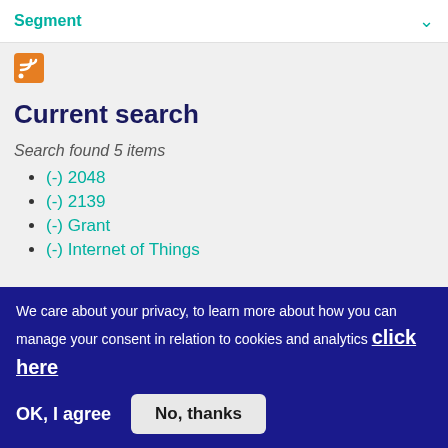Segment
[Figure (other): RSS feed icon (orange square with white RSS symbol)]
Current search
Search found 5 items
(-) 2048
(-) 2139
(-) Grant
(-) Internet of Things
We care about your privacy, to learn more about how you can manage your consent in relation to cookies and analytics click here
OK, I agree
No, thanks